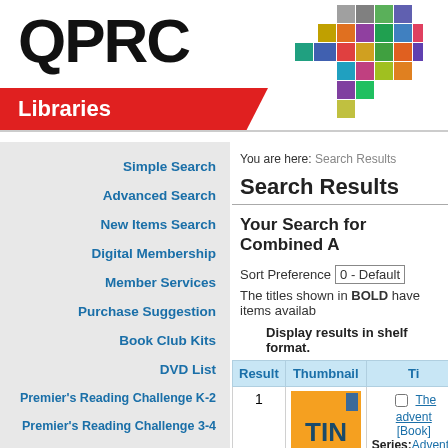[Figure (logo): QPRC Libraries logo with colorful cross/plus icon]
Simple Search
Advanced Search
New Items Search
Digital Membership
Member Services
Purchase Suggestion
Book Club Kits
DVD List
Premier's Reading Challenge K-2
Premier's Reading Challenge 3-4
Premier's Reading Challenge 5-6
You are here:  Search Results
Search Results
Your Search for Combined A
Sort Preference  0 - Default
The titles shown in BOLD have items availab...
Display results in shelf format.
| Result | Thumbnail | Ti... |
| --- | --- | --- |
| 1 | [book thumbnail] | The advent...
[Book]
Series: Adventu...
;Volume:12 - 14... |